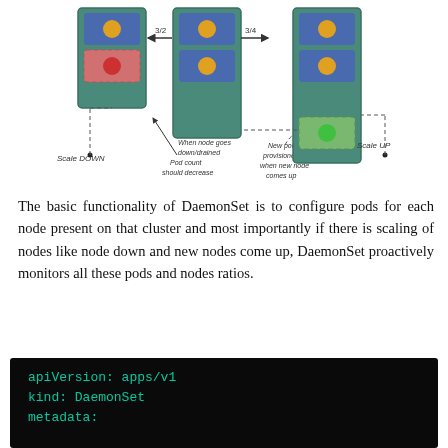[Figure (engineering-diagram): Diagram showing DaemonSet scaling behavior: three node groups illustrated with teal containers holding blue pods (orange circles). Left group shows Scale DOWN with a red pod being removed. Center group shows 3/2 ratio with arrow pointing left. Right group shows 3/4 ratio with arrow pointing right and Scale UP label, with a new green pod provisioned when new node comes up. Annotations explain: 'When node goes down/drained Pod count should decrease' and 'New pod provisioned when new node comes up'.]
The basic functionality of DaemonSet is to configure pods for each node present on that cluster and most importantly if there is scaling of nodes like node down and new nodes come up, DaemonSet proactively monitors all these pods and nodes ratios.
apiVersion: apps/v1
kind: DaemonSet
metadata: